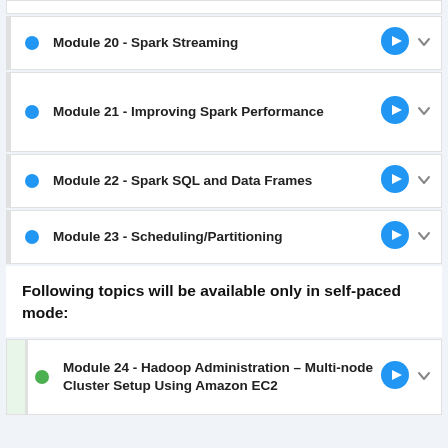Module 20 - Spark Streaming
Module 21 - Improving Spark Performance
Module 22 - Spark SQL and Data Frames
Module 23 - Scheduling/Partitioning
Following topics will be available only in self-paced mode:
Module 24 - Hadoop Administration – Multi-node Cluster Setup Using Amazon EC2